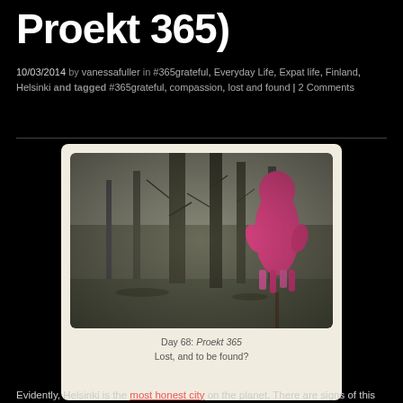Proekt 365)
10/03/2014 by vanessafuller in #365grateful, Everyday Life, Expat life, Finland, Helsinki and tagged #365grateful, compassion, lost and found | 2 Comments
[Figure (photo): A pink knitted stuffed toy figure standing on a stick in an outdoor wooded area with bare trees, shown in a polaroid-style frame with rounded corners and cream border. Caption: Day 68: Proekt 365 / Lost, and to be found?]
Day 68: Proekt 365
Lost, and to be found?
Evidently, Helsinki is the most honest city on the planet. There are signs of this